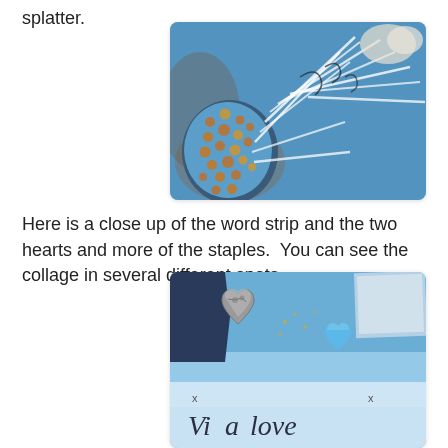splatter.
[Figure (photo): Close-up photograph of a blue mixed-media artwork showing a sunflower or fan-like textured element with copper/bronze dots and white radiating lines on a blue distressed background.]
Here is a close up of the word strip and the two hearts and more of the staples.  You can see the collage in several different spots.
[Figure (photo): Close-up photograph of a blue mixed-media artwork showing two heart shapes (one metallic charm, one blue clay heart), decorative text, and collage elements on a blue background.]